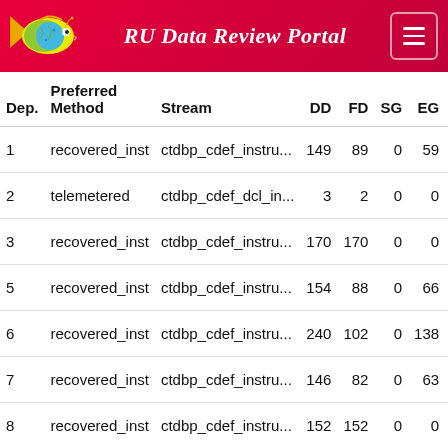RU Data Review Portal
| Dep. | Preferred Method | Stream | DD | FD | SG | EG | Gap |
| --- | --- | --- | --- | --- | --- | --- | --- |
| 1 | recovered_inst | ctdbp_cdef_instru... | 149 | 89 | 0 | 59 |  |
| 2 | telemetered | ctdbp_cdef_dcl_in... | 3 | 2 | 0 | 0 |  |
| 3 | recovered_inst | ctdbp_cdef_instru... | 170 | 170 | 0 | 0 |  |
| 5 | recovered_inst | ctdbp_cdef_instru... | 154 | 88 | 0 | 66 |  |
| 6 | recovered_inst | ctdbp_cdef_instru... | 240 | 102 | 0 | 138 |  |
| 7 | recovered_inst | ctdbp_cdef_instru... | 146 | 82 | 0 | 63 |  |
| 8 | recovered_inst | ctdbp_cdef_instru... | 152 | 152 | 0 | 0 |  |